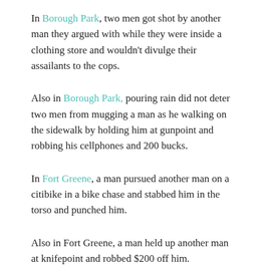In Borough Park, two men got shot by another man they argued with while they were inside a clothing store and wouldn't divulge their assailants to the cops.
Also in Borough Park, pouring rain did not deter two men from mugging a man as he walking on the sidewalk by holding him at gunpoint and robbing his cellphones and 200 bucks.
In Fort Greene, a man pursued another man on a citibike in a bike chase and stabbed him in the torso and punched him.
Also in Fort Greene, a man held up another man at knifepoint and robbed $200 off him.